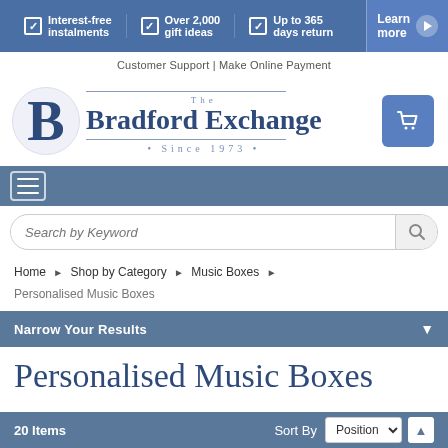[Figure (screenshot): Top promotional banner with blue background showing three checkmark items: 'Interest-free instalments', 'Over 2,000 gift ideas', 'Up to 365 days return', and a 'Learn more' button with play icon]
Customer Support | Make Online Payment
[Figure (logo): Bradford Exchange logo with large B letter, 'The Bradford Exchange' text and 'Since 1973' tagline, plus shopping cart button]
[Figure (screenshot): Navigation bar with hamburger menu icon]
Search by Keyword
Home > Shop by Category > Music Boxes > Personalised Music Boxes
Narrow Your Results
Personalised Music Boxes
20 Items    Sort By  Position